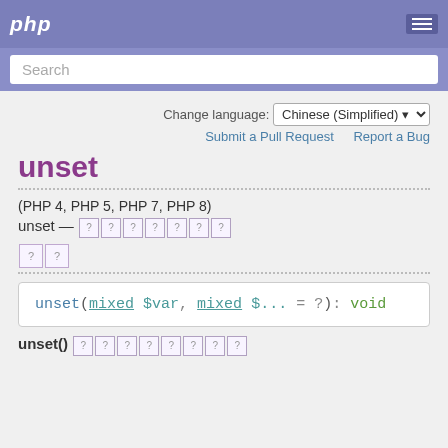php
Search
Change language: Chinese (Simplified)
Submit a Pull Request   Report a Bug
unset
(PHP 4, PHP 5, PHP 7, PHP 8)
unset — [Chinese characters]
[Chinese characters]
unset(mixed $var, mixed $... = ?): void
unset() [Chinese characters]